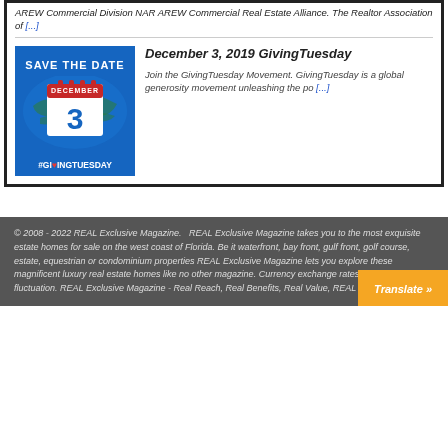AREW Commercial Division NAR AREW Commercial Real Estate Alliance. The Realtor Association of [...]
[Figure (illustration): Save the Date GivingTuesday December 3 banner with calendar icon and world map background in blue]
December 3, 2019 GivingTuesday
Join the GivingTuesday Movement. GivingTuesday is a global generosity movement unleashing the po [...]
© 2008 - 2022 REAL Exclusive Magazine.   REAL Exclusive Magazine takes you to the most exquisite estate homes for sale on the west coast of Florida. Be it waterfront, bay front, gulf front, golf course, estate, equestrian or condominium properties REAL Exclusive Magazine lets you explore these magnificent luxury real estate homes like no other magazine. Currency exchange rates subject to fluctuation. REAL Exclusive Magazine - Real Reach, Real Benefits, Real Value, REAL Real Estate.